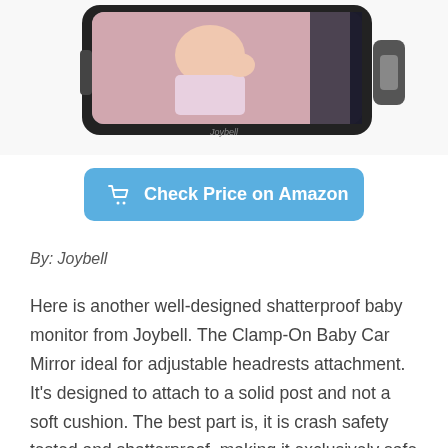[Figure (photo): Baby car mirror product photo showing a wide black rectangular mirror with a baby visible in the reflection, brand name Joybell visible on the mirror frame, with mounting clips visible on the right side]
[Figure (other): Blue rounded rectangle button with shopping cart icon and text 'Check Price on Amazon']
By: Joybell
Here is another well-designed shatterproof baby monitor from Joybell. The Clamp-On Baby Car Mirror ideal for adjustable headrests attachment. It's designed to attach to a solid post and not a soft cushion. The best part is, it is crash safety tested and shatterproof, making it exclusively safe for your baby.